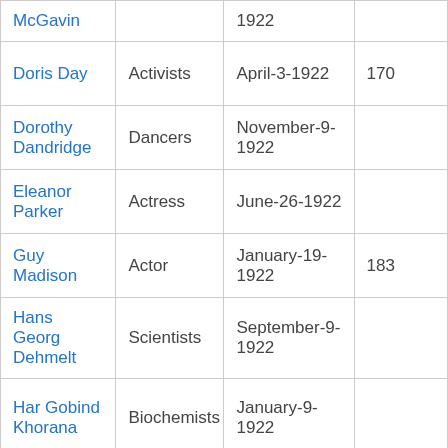| McGavin |  | 1922 |  |
| Doris Day | Activists | April-3-1922 | 170 |
| Dorothy Dandridge | Dancers | November-9-1922 |  |
| Eleanor Parker | Actress | June-26-1922 |  |
| Guy Madison | Actor | January-19-1922 | 183 |
| Hans Georg Dehmelt | Scientists | September-9-1922 |  |
| Har Gobind Khorana | Biochemists | January-9-1922 |  |